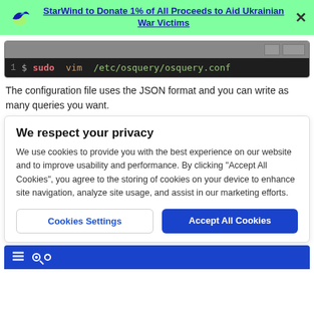StarWind to Donate 1% of All Proceeds to Aid Ukrainian War Victims
[Figure (screenshot): Terminal code block showing: $ sudo vim /etc/osquery/osquery.conf]
The configuration file uses the JSON format and you can write as many queries you want.
We respect your privacy
We use cookies to provide you with the best experience on our website and to improve usability and performance. By clicking "Accept All Cookies", you agree to the storing of cookies on your device to enhance site navigation, analyze site usage, and assist in our marketing efforts.
Cookies Settings    Accept All Cookies